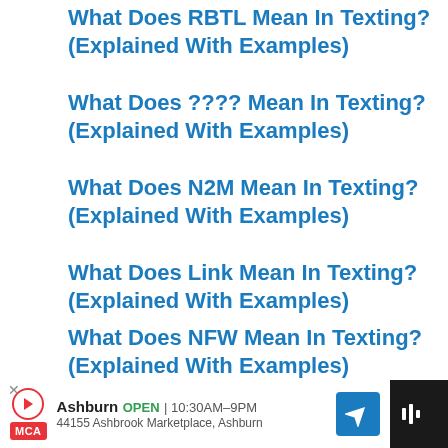What Does RBTL Mean In Texting? (Explained With Examples)
What Does ???? Mean In Texting? (Explained With Examples)
What Does N2M Mean In Texting? (Explained With Examples)
What Does Link Mean In Texting? (Explained With Examples)
What Does NFW Mean In Texting? (Explained With Examples)
What Does Hmm Mean In Texting?
Ashburn OPEN 10:30AM–9PM 44155 Ashbrook Marketplace, Ashburn